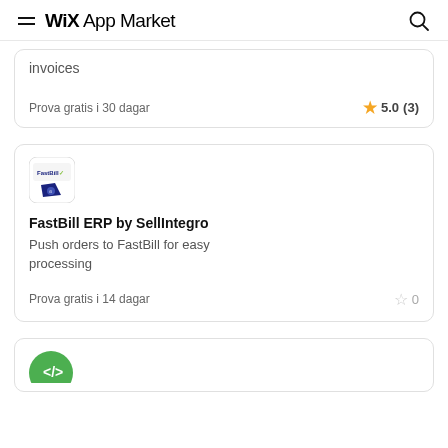Wix App Market
invoices
Prova gratis i 30 dagar
5.0 (3)
[Figure (logo): FastBill ERP app logo with FastBill text and dark blue shape]
FastBill ERP by SellIntegro
Push orders to FastBill for easy processing
Prova gratis i 14 dagar
0
[Figure (logo): Partial green circular icon at bottom of page]